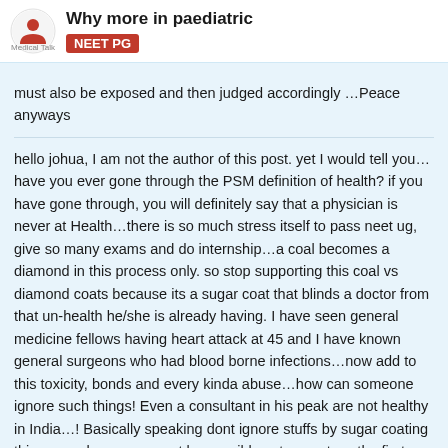Why more in paediatric | Medical Talk | NEET PG
must also be exposed and then judged accordingly …Peace anyways
hello johua, I am not the author of this post. yet I would tell you…have you ever gone through the PSM definition of health? if you have gone through, you will definitely say that a physician is never at Health…there is so much stress itself to pass neet ug, give so many exams and do internship…a coal becomes a diamond in this process only. so stop supporting this coal vs diamond coats because its a sugar coat that blinds a doctor from that un-health he/she is already having. I have seen general medicine fellows having heart attack at 45 and I have known general surgeons who had blood borne infections…now add to this toxicity, bonds and every kinda abuse…how can someone ignore such things! Even a consultant in his peak are not healthy in India…! Basically speaking dont ignore stuffs by sugar coating things…a change may not be possible yet…arent we the first change?
if u want to live according to the definition of health, ur country